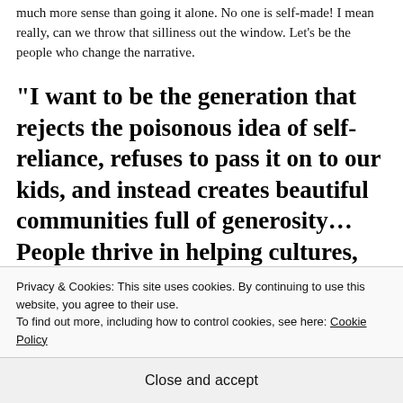much more sense than going it alone. No one is self-made! I mean really, can we throw that silliness out the window. Let's be the people who change the narrative.
“I want to be the generation that rejects the poisonous idea of self-reliance, refuses to pass it on to our kids, and instead creates beautiful communities full of generosity…People thrive in helping cultures, bottom lines increase, productivity expands,
Privacy & Cookies: This site uses cookies. By continuing to use this website, you agree to their use.
To find out more, including how to control cookies, see here: Cookie Policy
Close and accept